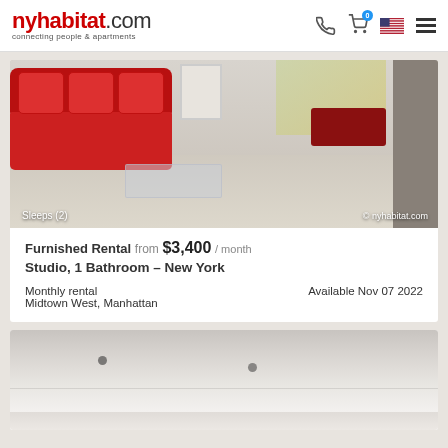nyhabitat.com connecting people & apartments
[Figure (photo): Living room with red sofa, glass coffee table, and light wood floor. Overlay text: 'Sleeps (2)' at bottom left and '© nyhabitat.com' at bottom right.]
Furnished Rental from $3,400 / month
Studio, 1 Bathroom - New York
Monthly rental
Midtown West, Manhattan
Available Nov 07 2022
[Figure (photo): Interior ceiling view of apartment with recessed lighting.]